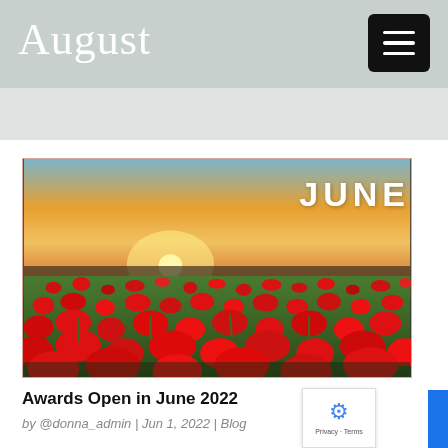August
[Figure (photo): A field of red poppy flowers at sunset with golden sky, with the word JUNE overlaid in white bold text on the upper right.]
Awards Open in June 2022
by @donna_admin | Jun 1, 2022 | Blog